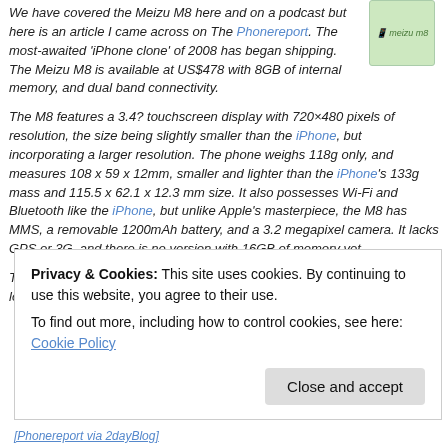We have covered the Meizu M8 here and on a podcast but here is an article I came across on The Phonereport. The most-awaited 'iPhone clone' of 2008 has began shipping. The Meizu M8 is available at US$478 with 8GB of internal memory, and dual band connectivity.
[Figure (photo): Small thumbnail image of Meizu M8 phone with green leaf/icon]
The M8 features a 3.4? touchscreen display with 720×480 pixels of resolution, the size being slightly smaller than the iPhone, but incorporating a larger resolution. The phone weighs 118g only, and measures 108 x 59 x 12mm, smaller and lighter than the iPhone's 133g mass and 115.5 x 62.1 x 12.3 mm size. It also possesses Wi-Fi and Bluetooth like the iPhone, but unlike Apple's masterpiece, the M8 has MMS, a removable 1200mAh battery, and a 3.2 megapixel camera. It lacks GPS or 3G, and there is no version with 16GB of memory yet.
The iPhone's CPU speed isn't known, but it is expected to be 625MHz, lower than the M8's 667MHz. The latter has 256MB of RAM, while it is
Privacy & Cookies: This site uses cookies. By continuing to use this website, you agree to their use.
To find out more, including how to control cookies, see here: Cookie Policy
[Phonereport via 2dayBlog]